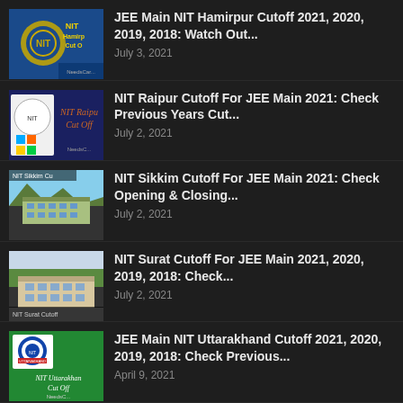[Figure (screenshot): NIT Hamirpur Cut Off thumbnail with yellow text on blue background]
JEE Main NIT Hamirpur Cutoff 2021, 2020, 2019, 2018: Watch Out...
July 3, 2021
[Figure (screenshot): NIT Raipur Cut Off thumbnail with cursive text on dark blue background]
NIT Raipur Cutoff For JEE Main 2021: Check Previous Years Cut...
July 2, 2021
[Figure (photo): NIT Sikkim building photo with NIT Sikkim Cut text overlay]
NIT Sikkim Cutoff For JEE Main 2021: Check Opening & Closing...
July 2, 2021
[Figure (photo): NIT Surat Cutoff building photo with label at bottom]
NIT Surat Cutoff For JEE Main 2021, 2020, 2019, 2018: Check...
July 2, 2021
[Figure (screenshot): NIT Uttarakhand Cut Off thumbnail with logo on green background]
JEE Main NIT Uttarakhand Cutoff 2021, 2020, 2019, 2018: Check Previous...
April 9, 2021